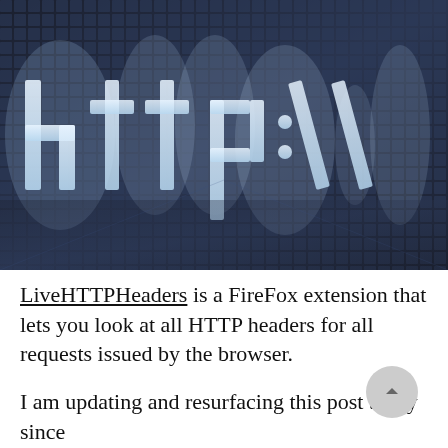[Figure (photo): Close-up of a digital screen displaying the text 'http://' rendered as glowing white letters on a dark blue pixelated grid background.]
LiveHTTPHeaders is a FireFox extension that lets you look at all HTTP headers for all requests issued by the browser.
I am updating and resurfacing this post today since